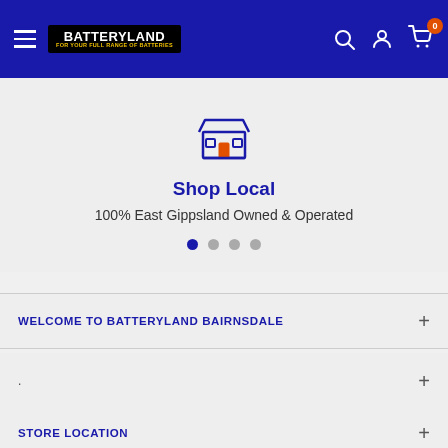Batteryland — For Your Full Range of Batteries
[Figure (illustration): Store/shop icon in dark blue outline style]
Shop Local
100% East Gippsland Owned & Operated
WELCOME TO BATTERYLAND BAIRNSDALE
.
STORE LOCATION